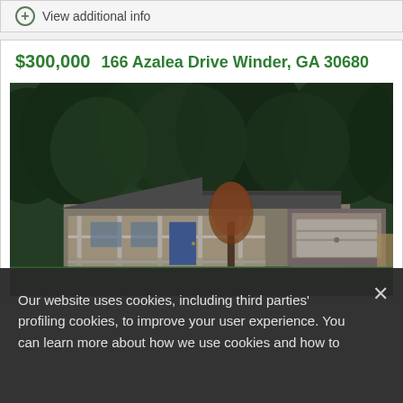View additional info
$300,000  166 Azalea Drive Winder, GA 30680
[Figure (photo): Exterior photo of a single-story ranch-style house with a covered front porch, attached garage, ornamental tree, and well-maintained green lawn, surrounded by tall trees.]
Our website uses cookies, including third parties' profiling cookies, to improve your user experience. You can learn more about how we use cookies and how to